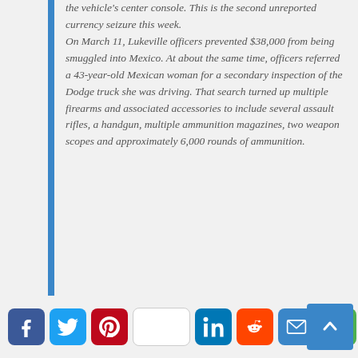the vehicle's center console. This is the second unreported currency seizure this week. On March 11, Lukeville officers prevented $38,000 from being smuggled into Mexico. At about the same time, officers referred a 43-year-old Mexican woman for a secondary inspection of the Dodge truck she was driving. That search turned up multiple firearms and associated accessories to include several assault rifles, a handgun, multiple ammunition magazines, two weapon scopes and approximately 6,000 rounds of ammunition.